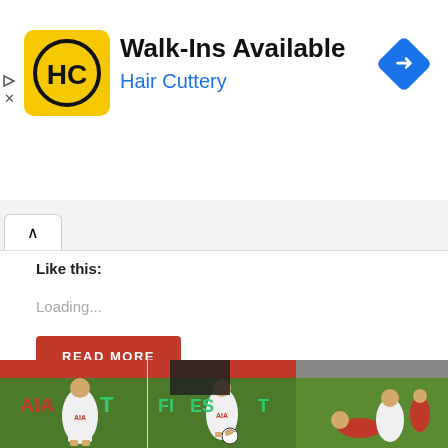[Figure (infographic): Hair Cuttery advertisement banner with yellow square logo with HC initials, text 'Walk-Ins Available' in bold and 'Hair Cuttery' in blue, and a blue diamond navigation icon on the right. Small play and X icons on the far left.]
Like this:
Loading...
READ MORE
[Figure (photo): Three football/soccer video stills showing Tottenham Hotspur players in white AIA-sponsored kits, with red-kit players, on a football pitch with advertising boards reading 'N CARDS AVA' (partial). Left panel shows a Tottenham player standing, center panel shows a player juggling the ball, right panel shows a tackle/sliding challenge.]